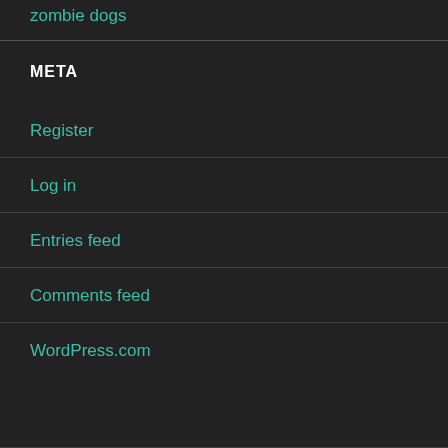zombie dogs
META
Register
Log in
Entries feed
Comments feed
WordPress.com